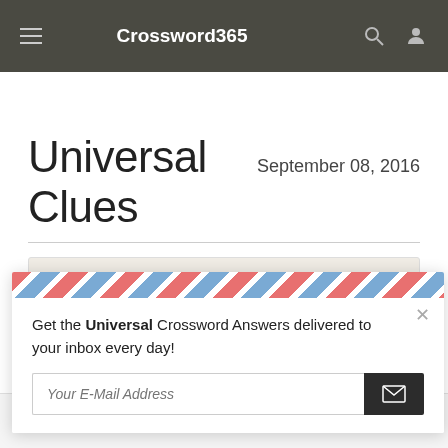Crossword365
Universal Clues  September 08, 2016
Make pigtails
Get the Universal Crossword Answers delivered to your inbox every day!
Your E-Mail Address
This website uses cookies to ensure you get the best experience on our website